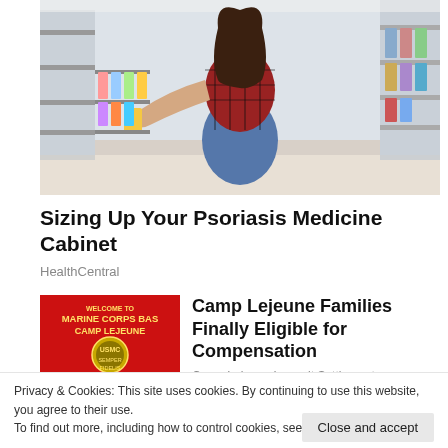[Figure (photo): A woman in a red plaid shirt crouching in a pharmacy aisle, examining a product on the shelf. Shelves stocked with health/beauty products visible in background.]
Sizing Up Your Psoriasis Medicine Cabinet
HealthCentral
[Figure (photo): Red sign reading 'Welcome to Marine Corps Base Camp Lejeune' with military insignia and badges at the bottom.]
Camp Lejeune Families Finally Eligible for Compensation
Camp Lejeune Lawsuit Settlement
Privacy & Cookies: This site uses cookies. By continuing to use this website, you agree to their use.
To find out more, including how to control cookies, see here: Cookie Policy
Close and accept